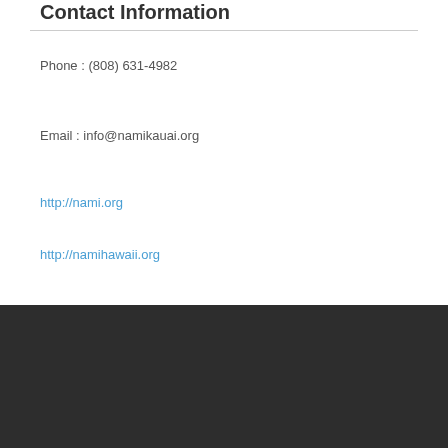Contact Information
Phone : (808) 631-4982
Email : info@namikauai.org
http://nami.org
http://namihawaii.org
Contact Information
Phone : (808) 631-4982